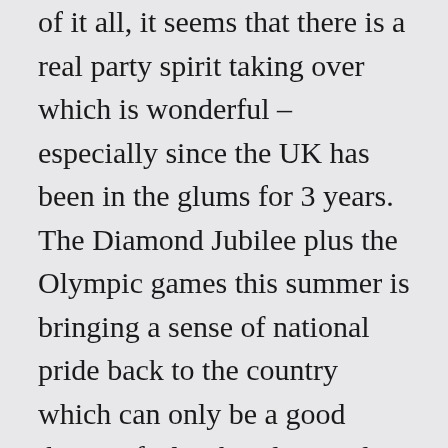of it all, it seems that there is a real party spirit taking over which is wonderful – especially since the UK has been in the glums for 3 years. The Diamond Jubilee plus the Olympic games this summer is bringing a sense of national pride back to the country which can only be a good thing! I feel rather divorced from it all over here in Indonesia so it was lovely to read your post and hear Serena's